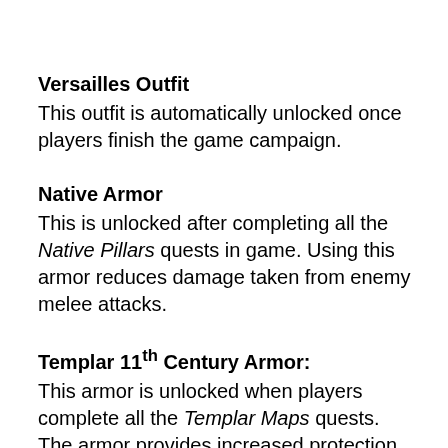Versailles Outfit
This outfit is automatically unlocked once players finish the game campaign.
Native Armor
This is unlocked after completing all the Native Pillars quests in game. Using this armor reduces damage taken from enemy melee attacks.
Templar 11th Century Armor:
This armor is unlocked when players complete all the Templar Maps quests. The armor provides increased protection against ranged